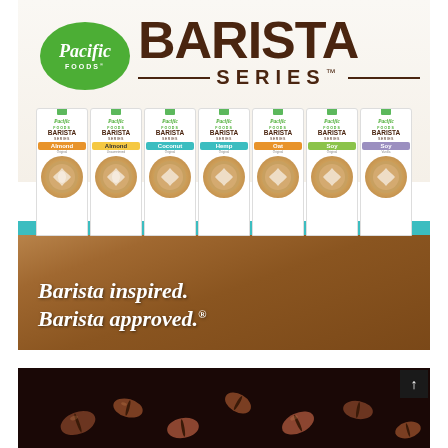[Figure (photo): Pacific Foods Barista Series advertisement showing 7 product cartons (Almond Original, Almond Unsweetened, Coconut Original, Hemp Original, Oat Original, Soy Original, Soy Vanilla) with latte art. Text reads 'Barista inspired. Barista approved.' on a wood-grain background.]
[Figure (photo): Close-up photo of coffee beans on a dark background, partially visible at bottom of page.]